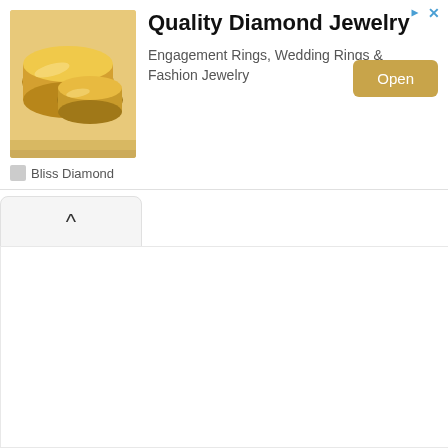[Figure (infographic): Advertisement banner for Bliss Diamond jewelry. Contains a photo of gold wedding/engagement rings on the left, bold title 'Quality Diamond Jewelry', subtitle 'Engagement Rings, Wedding Rings & Fashion Jewelry', an orange 'Open' button, and 'Bliss Diamond' brand label at bottom left. Top right has ad attribution icons.]
[Figure (infographic): A collapse/minimize UI button showing an upward-pointing chevron (^) in a rounded rectangle tab, indicating an expandable/collapsible section.]